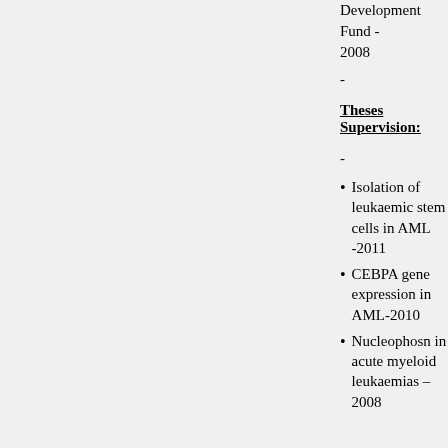Development Fund - 2008
-
Theses Supervision:
-
Isolation of leukaemic stem cells in AML -2011
CEBPA gene expression in AML-2010
Nucleophosn in acute myeloid leukaemias – 2008